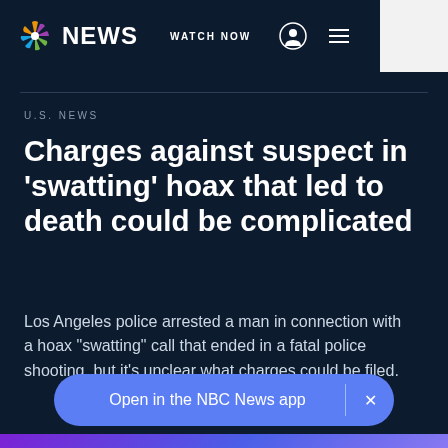NBC NEWS  WATCH NOW
U.S. NEWS
Charges against suspect in 'swatting' hoax that led to death could be complicated
Los Angeles police arrested a man in connection with a hoax "swatting" call that ended in a fatal police shooting, but it's unclear what charges could be filed.
Open in the NBC News app